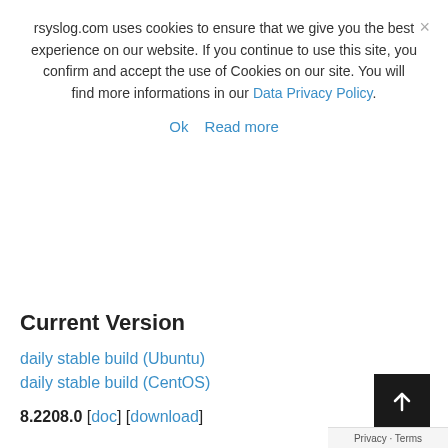rsyslog.com uses cookies to ensure that we give you the best experience on our website. If you continue to use this site, you confirm and accept the use of Cookies on our site. You will find more informations in our Data Privacy Policy.
Ok   Read more
Current Version
daily stable build (Ubuntu)
daily stable build (CentOS)
8.2208.0 [doc] [download]